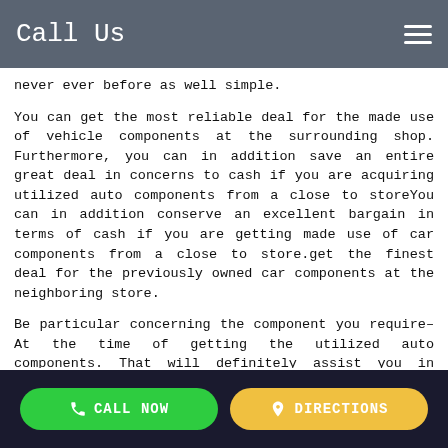Call Us
never ever before as well simple.
You can get the most reliable deal for the made use of vehicle components at the surrounding shop. Furthermore, you can in addition save an entire great deal in concerns to cash if you are acquiring utilized auto components from a close to storeYou can in addition conserve an excellent bargain in terms of cash if you are getting made use of car components from a close to store.get the finest deal for the previously owned car components at the neighboring store.
Be particular concerning the component you require– At the time of getting the utilized auto components. That will definitely assist you in obtaining an information component for your vehicle.particular worrying the component you require– At the time of obtaining the pre-owned vehicle components.
History of the utilized vehicle element– If you find out much
CALL NOW   DIRECTIONS